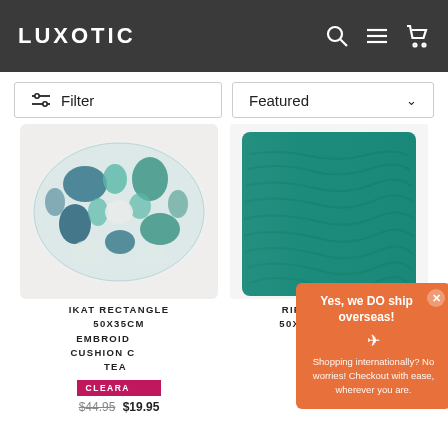LUXOTIC
Filter
Featured
[Figure (photo): Ikat rectangle cushion with teal and navy blue geometric pattern on white background]
[Figure (photo): Ripple square velvet cushion in solid teal/turquoise color]
IKAT RECTANGLE 50X35CM EMBROIDERED CUSHION COVER TEAL
RIPPLE SQUARE 50X50CM VELVET
CLEARANCE
$44.95  $19.95
Yes, we DO ship overseas!
✈
Shopping internationally? No worries! Checkout with ease, wherever you are.